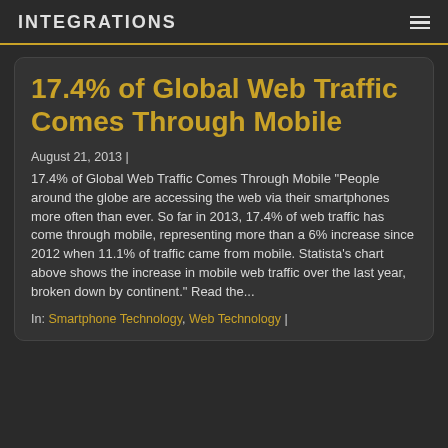INTEGRATIONS
17.4% of Global Web Traffic Comes Through Mobile
August 21, 2013 |
17.4% of Global Web Traffic Comes Through Mobile "People around the globe are accessing the web via their smartphones more often than ever. So far in 2013, 17.4% of web traffic has come through mobile, representing more than a 6% increase since 2012 when 11.1% of traffic came from mobile. Statista's chart above shows the increase in mobile web traffic over the last year, broken down by continent." Read the...
In: Smartphone Technology, Web Technology |